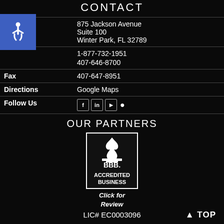CONTACT
| Field | Value |
| --- | --- |
| Address | 875 Jackson Avenue
Suite 100
Winter Park, FL 32789 |
| Phone | 1-877-732-1951
407-646-8700 |
| Fax | 407-647-8951 |
| Directions | Google Maps |
| Follow Us | [social icons: Facebook, LinkedIn, YouTube, Location] |
OUR PARTNERS
[Figure (logo): BBB Accredited Business logo — white flame/shield symbol above BBB. text and 'ACCREDITED BUSINESS' in a bordered box, with 'Click for Review' below]
LIC# EC0003096
▲ TOP